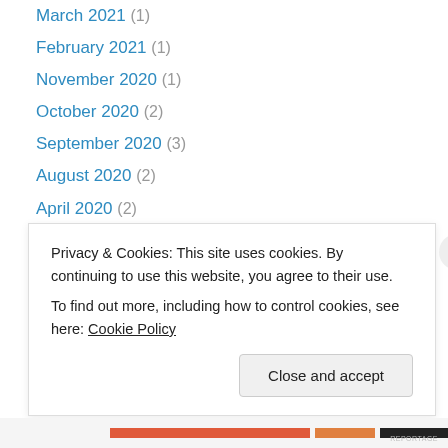March 2021 (1)
February 2021 (1)
November 2020 (1)
October 2020 (2)
September 2020 (3)
August 2020 (2)
April 2020 (2)
March 2020 (1)
January 2020 (1)
September 2019 (2)
May 2019 (2)
April 2019 (15)
March 2019 (10)
November 2018 (1)
Privacy & Cookies: This site uses cookies. By continuing to use this website, you agree to their use. To find out more, including how to control cookies, see here: Cookie Policy